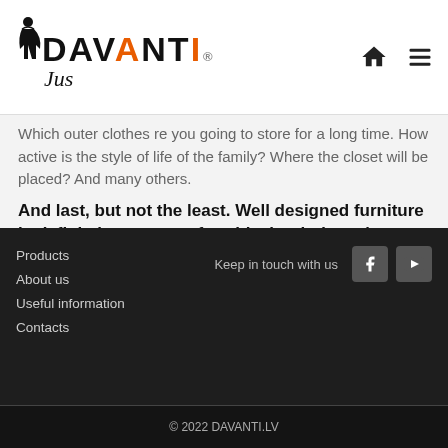[Figure (logo): DAVANTI Jus logo with silhouette figure, orange I, and cursive Jus below]
Which outer clothes re you going to store for a long time. How active is the style of life of the family? Where the closet will be placed? And many others.
And last, but not the least. Well designed furniture is definitely more comfortable, but it doesn't necessarily mean it is more expensive than the furniture which was not designed beforehand.
Products
About us
Useful information
Contacts
© 2022 DAVANTI.LV